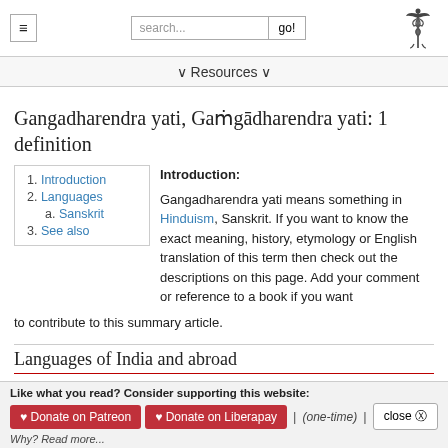≡  search...  go!  [caduceus logo]
▼ Resources ▼
Gangadharendra yati, Gaṅgādharendra yati: 1 definition
1. Introduction
2. Languages
a. Sanskrit
3. See also
Introduction:
Gangadharendra yati means something in Hinduism, Sanskrit. If you want to know the exact meaning, history, etymology or English translation of this term then check out the descriptions on this page. Add your comment or reference to a book if you want to contribute to this summary article.
Languages of India and abroad
Sanskrit dictionary
[«previous (G) next»] — Gangadharendra yati in Sanskrit glossary
Like what you read? Consider supporting this website:
♥ Donate on Patreon  ♥ Donate on Liberapay  |  (one-time)  |  close ⊗
Why? Read more...